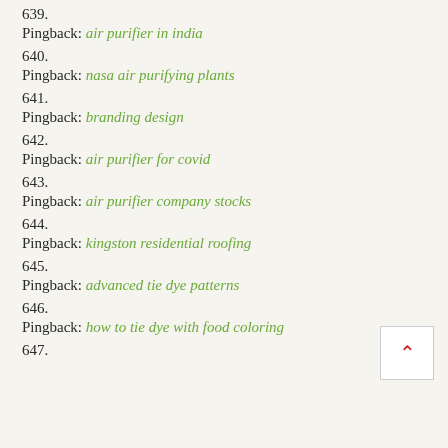639.
Pingback: air purifier in india
640.
Pingback: nasa air purifying plants
641.
Pingback: branding design
642.
Pingback: air purifier for covid
643.
Pingback: air purifier company stocks
644.
Pingback: kingston residential roofing
645.
Pingback: advanced tie dye patterns
646.
Pingback: how to tie dye with food coloring
647.